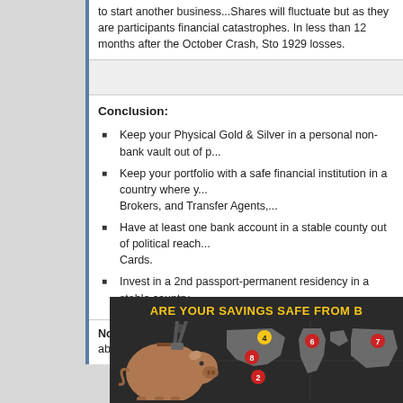to start another business...Shares will fluctuate but as they are participants financial catastrophes. In less than 12 months after the October Crash, Sto 1929 losses.
Conclusion:
Keep your Physical Gold & Silver in a personal non-bank vault out of p...
Keep your portfolio with a safe financial institution in a country where y... Brokers, and Transfer Agents,...
Have at least one bank account in a stable county out of political reach... Cards.
Invest in a 2nd passport-permanent residency in a stable country.
Note: We (Goldonomic) will assist any relations to bring the above to a goo...
[Figure (infographic): Dark background infographic titled 'ARE YOUR SAVINGS SAFE FROM B...' showing a piggy bank being opened with pliers on the left, and a world map with numbered location markers (2, 4, 6, 7, 8) on the right.]